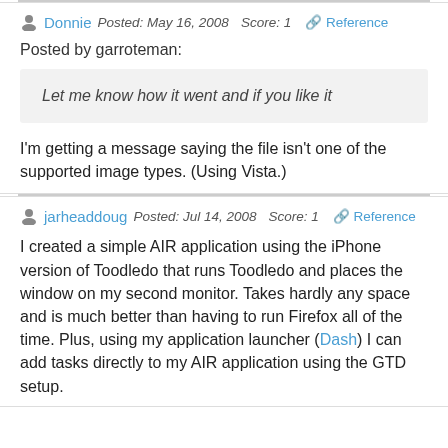Donnie  Posted: May 16, 2008  Score: 1  🔗 Reference
Posted by garroteman:
Let me know how it went and if you like it
I'm getting a message saying the file isn't one of the supported image types. (Using Vista.)
jarheaddoug  Posted: Jul 14, 2008  Score: 1  🔗 Reference
I created a simple AIR application using the iPhone version of Toodledo that runs Toodledo and places the window on my second monitor. Takes hardly any space and is much better than having to run Firefox all of the time. Plus, using my application launcher (Dash) I can add tasks directly to my AIR application using the GTD setup.